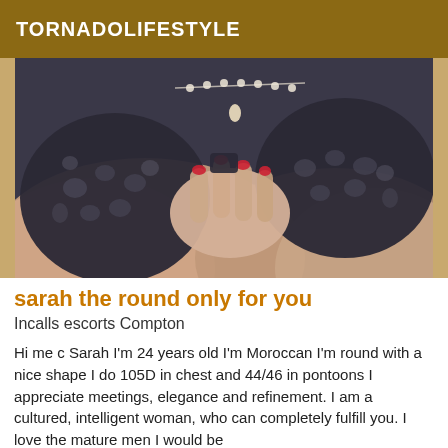TORNADOLIFESTYLE
[Figure (photo): Close-up photo of a woman wearing a dark lace bra, with a hand placed on chest and a pearl necklace visible.]
sarah the round only for you
Incalls escorts Compton
Hi me c Sarah I'm 24 years old I'm Moroccan I'm round with a nice shape I do 105D in chest and 44/46 in pontoons I appreciate meetings, elegance and refinement. I am a cultured, intelligent woman, who can completely fulfill you. I love the mature men I would be